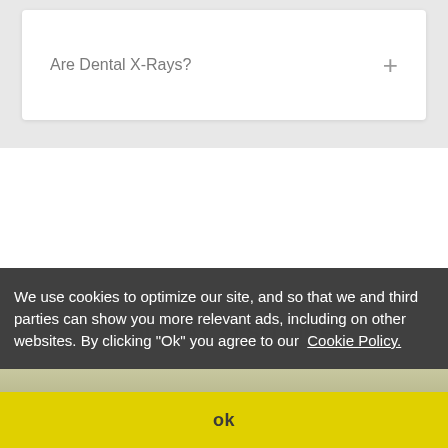Are Dental X-Rays?
YOU MAY ALSO LIKE
We use cookies to optimize our site, and so that we and third parties can show you more relevant ads, including on other websites. By clicking "Ok" you agree to our Cookie Policy.
ok